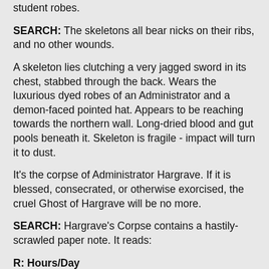student robes.
SEARCH: The skeletons all bear nicks on their ribs, and no other wounds.
A skeleton lies clutching a very jagged sword in its chest, stabbed through the back. Wears the luxurious dyed robes of an Administrator and a demon-faced pointed hat. Appears to be reaching towards the northern wall. Long-dried blood and gut pools beneath it. Skeleton is fragile - impact will turn it to dust.
It's the corpse of Administrator Hargrave. If it is blessed, consecrated, or otherwise exorcised, the cruel Ghost of Hargrave will be no more.
SEARCH: Hargrave's Corpse contains a hastily-scrawled paper note. It reads:
R: Hours/Day
L: Year of Lost Generation
R: Rock, RD+ (Me, Roc, C)